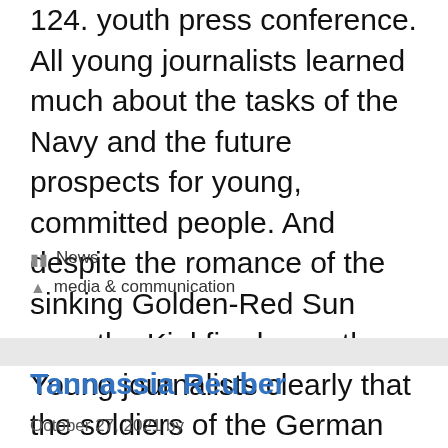124. youth press conference. All young journalists learned much about the tasks of the Navy and the future prospects for young, committed people. And despite the romance of the sinking Golden-Red Sun over the Kiel fjord, was the Young journalists clearly that the soldiers of the German Navy are always their responsibility.
Categories: News
Tags: media & communication
Tannassia Reuber
October 27, 2021 by